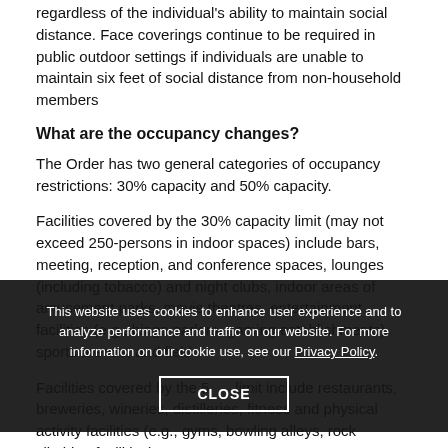regardless of the individual's ability to maintain social distance. Face coverings continue to be required in public outdoor settings if individuals are unable to maintain six feet of social distance from non-household members
What are the occupancy changes?
The Order has two general categories of occupancy restrictions: 30% capacity and 50% capacity.
Facilities covered by the 30% capacity limit (may not exceed 250-persons in indoor spaces) include bars, meeting, reception, and conference spaces, lounges (including tobacco) and night clubs, indoor areas of amusement parks, movie theatres, entertainment facilities (e.g., bingo parlors, gaming establishments), sports arenas, and field...
Facilities covered by the 50% capacity limit include restaurants, breweries, wineries, distilleries, fitness and physical activity facilities (e.g., gyms, bowling alleys, rock climbing facilities),
This website uses cookies to enhance user experience and to analyze performance and traffic on our website. For more information on our cookie use, see our Privacy Policy.